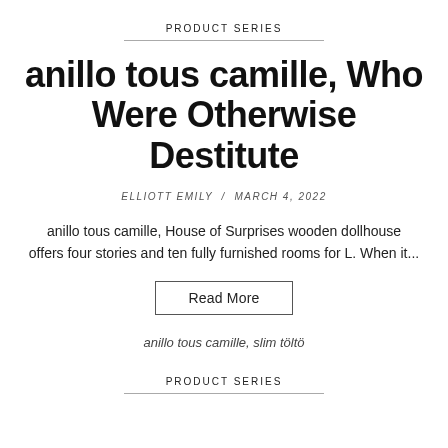PRODUCT SERIES
anillo tous camille, Who Were Otherwise Destitute
ELLIOTT EMILY / MARCH 4, 2022
anillo tous camille, House of Surprises wooden dollhouse offers four stories and ten fully furnished rooms for L. When it...
Read More
anillo tous camille, slim töltö
PRODUCT SERIES